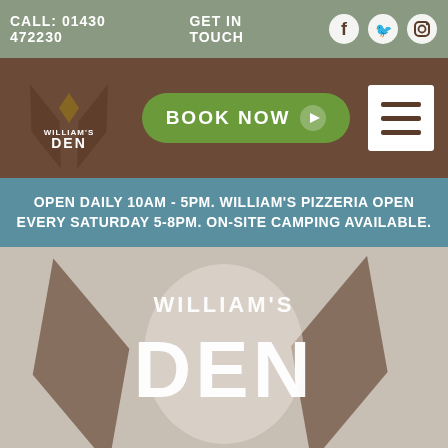CALL: 01430 472230   GET IN TOUCH
[Figure (logo): William's Den logo with crossed sticks and diamond shapes]
BOOK NOW
[Figure (illustration): Hamburger menu icon (three horizontal lines)]
OPEN DAILY 10AM - 5PM. WILLIAM'S PIZZERIA OPEN EVERY SATURDAY 5-8PM. ON-SITE CAMPING AVAILABLE.
[Figure (logo): William's Den large hero logo on beige/taupe background with crossed stick shapes]
EXPLORE